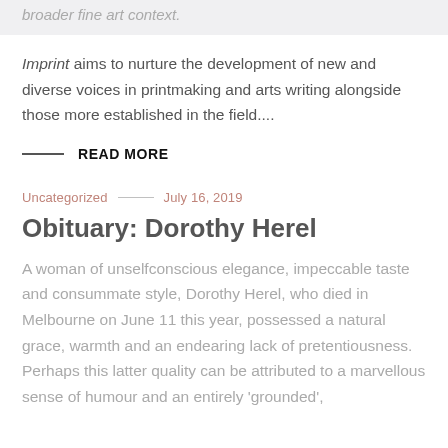broader fine art context.
Imprint aims to nurture the development of new and diverse voices in printmaking and arts writing alongside those more established in the field....
READ MORE
Uncategorized — July 16, 2019
Obituary: Dorothy Herel
A woman of unselfconscious elegance, impeccable taste and consummate style, Dorothy Herel, who died in Melbourne on June 11 this year, possessed a natural grace, warmth and an endearing lack of pretentiousness. Perhaps this latter quality can be attributed to a marvellous sense of humour and an entirely 'grounded',